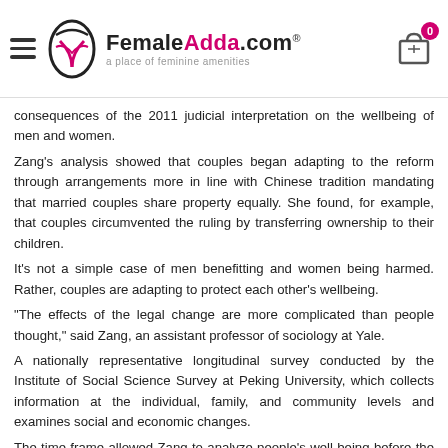FemaleAdda.com — a place of feminine amenities
consequences of the 2011 judicial interpretation on the wellbeing of men and women.
Zang's analysis showed that couples began adapting to the reform through arrangements more in line with Chinese tradition mandating that married couples share property equally. She found, for example, that couples circumvented the ruling by transferring ownership to their children.
It's not a simple case of men benefitting and women being harmed. Rather, couples are adapting to protect each other's wellbeing.
"The effects of the legal change are more complicated than people thought," said Zang, an assistant professor of sociology at Yale.
A nationally representative longitudinal survey conducted by the Institute of Social Science Survey at Peking University, which collects information at the individual, family, and community levels and examines social and economic changes.
The time frame allowed Zang to analyze people's well being before the judicial ruling through five years after it went into effect.
She identifies four socioeconomic factors that drove the court's decision to amend China's divorce law: First, people were acquiring unprecedented wealth amid the booming Chinese economy, leading to the establishment of property laws in 2007.
Next, housing prices increased more than 10% annually beginning in